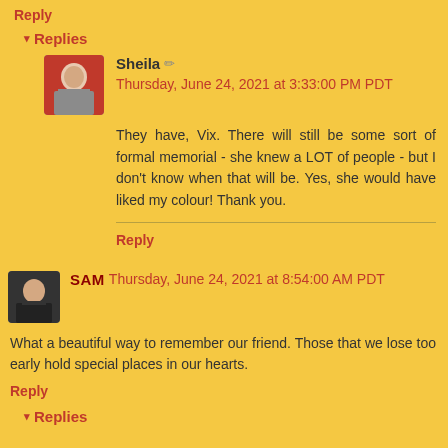Reply
▾ Replies
Sheila ✏ Thursday, June 24, 2021 at 3:33:00 PM PDT
They have, Vix. There will still be some sort of formal memorial - she knew a LOT of people - but I don't know when that will be. Yes, she would have liked my colour! Thank you.
Reply
SAM Thursday, June 24, 2021 at 8:54:00 AM PDT
What a beautiful way to remember our friend. Those that we lose too early hold special places in our hearts.
Reply
▾ Replies